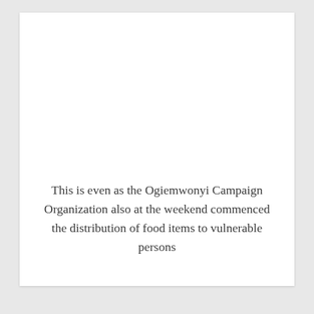This is even as the Ogiemwonyi Campaign Organization also at the weekend commenced the distribution of food items to vulnerable persons